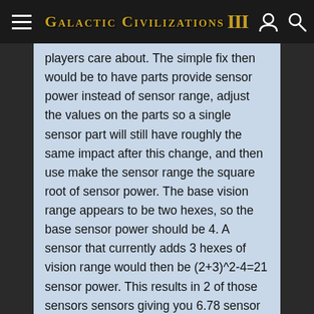Galactic Civilizations III
players care about. The simple fix then would be to have parts provide sensor power instead of sensor range, adjust the values on the parts so a single sensor part will still have roughly the same impact after this change, and then use make the sensor range the square root of sensor power. The base vision range appears to be two hexes, so the base sensor power should be 4. A sensor that currently adds 3 hexes of vision range would then be (2+3)^2-4=21 sensor power. This results in 2 of those sensors sensors giving you 6.78 sensor range, 3 giving you